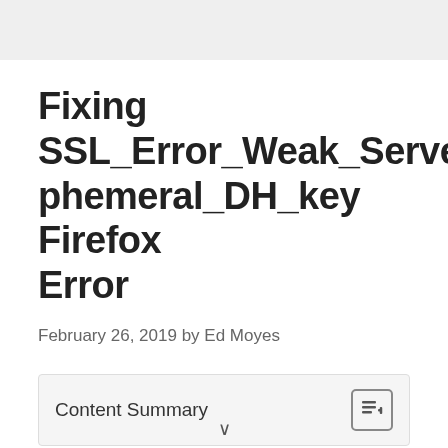Fixing SSL_Error_Weak_Server_ephemeral_DH_key Firefox Error
February 26, 2019 by Ed Moyes
Content Summary